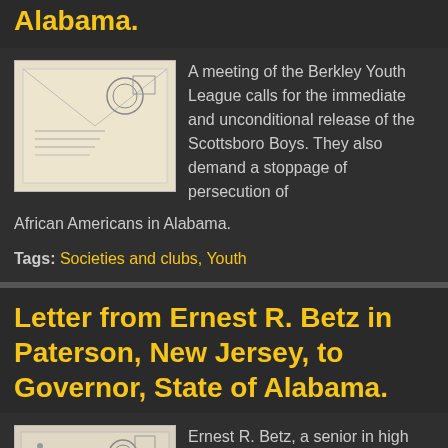Alabama.
[Figure (photo): Thumbnail image of a letter envelope with postmark]
A meeting of the Berkley Youth League calls for the immediate and unconditional release of the Scottsboro Boys. They also demand a stoppage of persecution of African Americans in Alabama.
Tags: Societies and clubs, Youth
Letter from Ernest R. Betz in Paterson, New Jersey, to Governor, State of Alabama.
[Figure (photo): Thumbnail image of a letter envelope with postmark]
Ernest R. Betz, a senior in high school, writes that a student in his class with